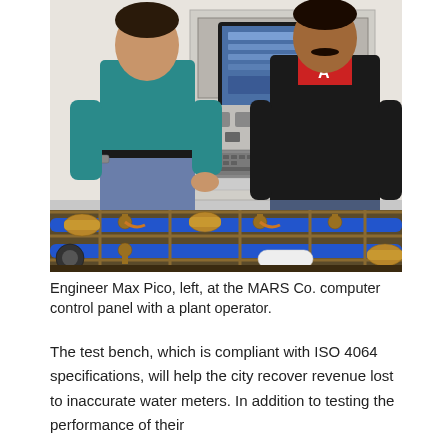[Figure (photo): Two men standing in front of a water meter test bench with blue pipes, brass valves and meters. Behind them is a white control panel with a monitor, keyboard and computer equipment. The man on the left wears a teal polo shirt and the man on the right wears a red shirt and black leather jacket.]
Engineer Max Pico, left, at the MARS Co. computer control panel with a plant operator.
The test bench, which is compliant with ISO 4064 specifications, will help the city recover revenue lost to inaccurate water meters. In addition to testing the performance of their